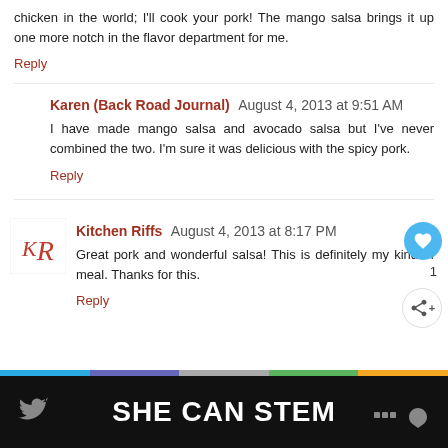chicken in the world; I'll cook your pork! The mango salsa brings it up one more notch in the flavor department for me.
Reply
Karen (Back Road Journal) August 4, 2013 at 9:51 AM
I have made mango salsa and avocado salsa but I've never combined the two. I'm sure it was delicious with the spicy pork.
Reply
Kitchen Riffs August 4, 2013 at 8:17 PM
Great pork and wonderful salsa! This is definitely my kind of meal. Thanks for this.
Reply